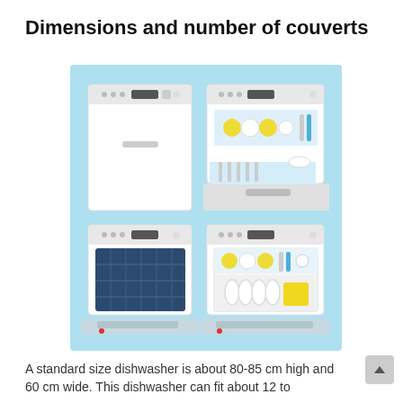Dimensions and number of couverts
[Figure (illustration): Four illustrations of dishwashers on a light blue background arranged in a 2x2 grid. Top-left: closed upright dishwasher (white). Top-right: open dishwasher with door down showing dishes and cutlery inside upper rack. Bottom-left: open built-in dishwasher with dark interior drum (front-loader style). Bottom-right: open built-in dishwasher with colorful dishes, plates and utensils visible.]
A standard size dishwasher is about 80-85 cm high and 60 cm wide. This dishwasher can fit about 12 to